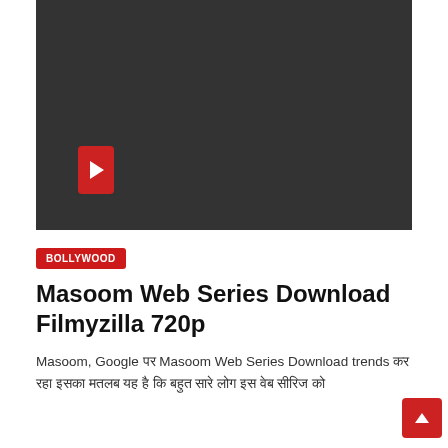[Figure (screenshot): Dark gray video player area with a red play button in the lower left portion]
BOLLYWOOD
Masoom Web Series Download Filmyzilla 720p
Masoom, Google पर Masoom Web Series Download trends कर रहा इसका मतलब यह है कि बहुत सारे लोग इस वेब सीरिज को